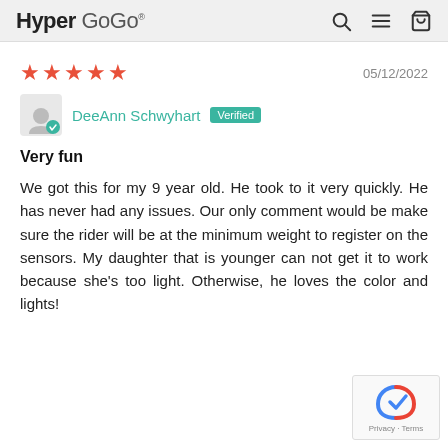Hyper GoGo
05/12/2022
DeeAnn Schwyhart Verified
Very fun
We got this for my 9 year old. He took to it very quickly. He has never had any issues. Our only comment would be make sure the rider will be at the minimum weight to register on the sensors. My daughter that is younger can not get it to work because she's too light. Otherwise, he loves the color and lights!